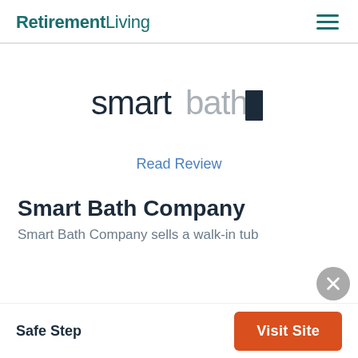RetirementLiving
[Figure (logo): Smart Bath Company logo with stylized lowercase 'smartbath' text and 'company' in a small dark blue vertical rectangle]
Read Review
Smart Bath Company
Smart Bath Company sells a walk-in tub
Safe Step
Visit Site